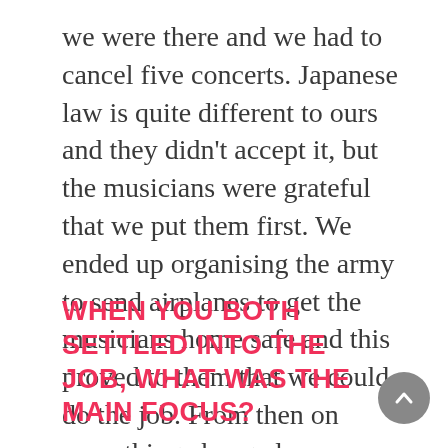we were there and we had to cancel five concerts. Japanese law is quite different to ours and they didn't accept it, but the musicians were grateful that we put them first. We ended up organising the army to send airplanes to get the musicians home safe and this proved to them that we could do the job. From then on everything changed.
WHEN YOU BOTH SETTLED INTO THE JOB, WHAT WAS THE MAIN FOCUS?